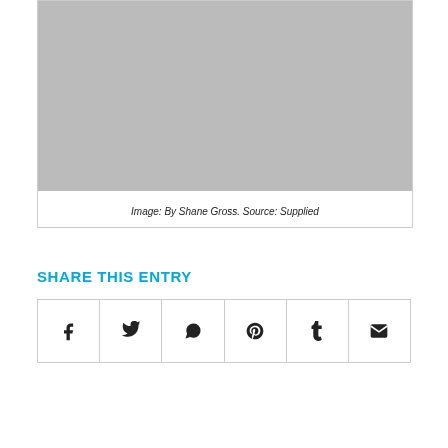[Figure (photo): Gray placeholder image, no visible content]
Image: By Shane Gross. Source: Supplied
SHARE THIS ENTRY
[Figure (infographic): Row of six social share icon buttons: Facebook, Twitter, WhatsApp, Pinterest, Tumblr, Email]